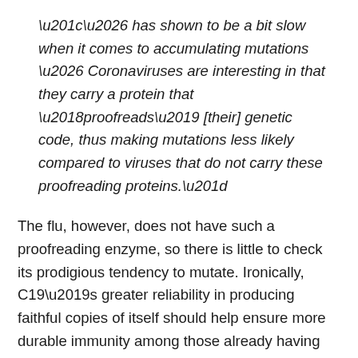“… has shown to be a bit slow when it comes to accumulating mutations … Coronaviruses are interesting in that they carry a protein that ‘proofreads’ [their] genetic code, thus making mutations less likely compared to viruses that do not carry these proofreading proteins.”
The flu, however, does not have such a proofreading enzyme, so there is little to check its prodigious tendency to mutate. Ironically, C19’s greater reliability in producing faithful copies of itself should help ensure more durable immunity among those already having acquired defenses against C19.
This means that C19 might not have a strong seasonal resurgence in the fall and winter. Exceptions could include: 1) the remaining susceptible population, should they be